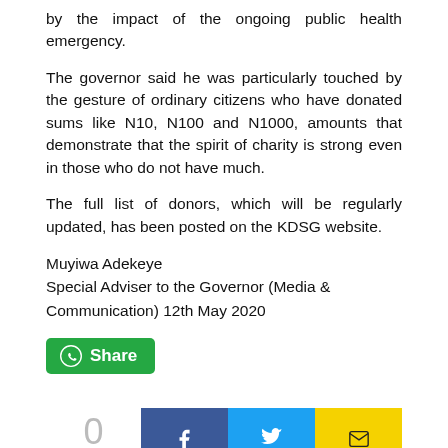by the impact of the ongoing public health emergency.
The governor said he was particularly touched by the gesture of ordinary citizens who have donated sums like N10, N100 and N1000, amounts that demonstrate that the spirit of charity is strong even in those who do not have much.
The full list of donors, which will be regularly updated, has been posted on the KDSG website.
Muyiwa Adekeye
Special Adviser to the Governor (Media & Communication) 12th May 2020
[Figure (other): Green WhatsApp Share button]
[Figure (infographic): Social share bar: 0 SHARES, Facebook button, Twitter button, Email button]
« PREVIOUS
GROUND ZERO Tuesday 12th May 2020